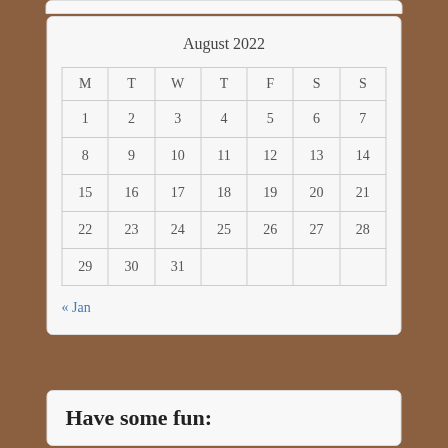| M | T | W | T | F | S | S |
| --- | --- | --- | --- | --- | --- | --- |
| 1 | 2 | 3 | 4 | 5 | 6 | 7 |
| 8 | 9 | 10 | 11 | 12 | 13 | 14 |
| 15 | 16 | 17 | 18 | 19 | 20 | 21 |
| 22 | 23 | 24 | 25 | 26 | 27 | 28 |
| 29 | 30 | 31 |  |  |  |  |
« Jan
Have some fun: